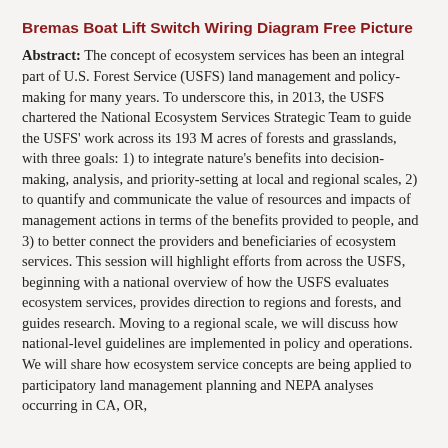Bremas Boat Lift Switch Wiring Diagram Free Picture
Abstract: The concept of ecosystem services has been an integral part of U.S. Forest Service (USFS) land management and policy-making for many years. To underscore this, in 2013, the USFS chartered the National Ecosystem Services Strategic Team to guide the USFS' work across its 193 M acres of forests and grasslands, with three goals: 1) to integrate nature's benefits into decision-making, analysis, and priority-setting at local and regional scales, 2) to quantify and communicate the value of resources and impacts of management actions in terms of the benefits provided to people, and 3) to better connect the providers and beneficiaries of ecosystem services. This session will highlight efforts from across the USFS, beginning with a national overview of how the USFS evaluates ecosystem services, provides direction to regions and forests, and guides research. Moving to a regional scale, we will discuss how national-level guidelines are implemented in policy and operations. We will share how ecosystem service concepts are being applied to participatory land management planning and NEPA analyses occurring in CA, OR,